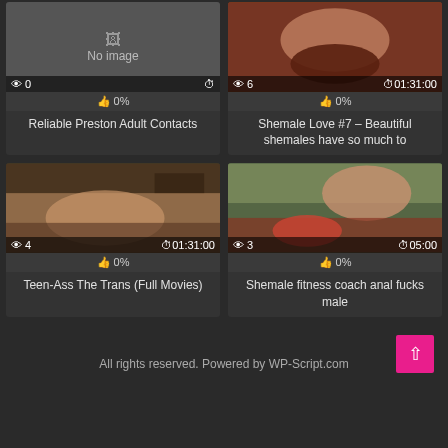[Figure (screenshot): Video thumbnail grid showing 4 video cards. Top-left: No image placeholder with 0 views. Top-right: Video thumbnail with 6 views, 01:31:00 duration. Bottom-left: Video thumbnail with 4 views, 01:31:00 duration. Bottom-right: Video thumbnail with 3 views, 05:00 duration.]
Reliable Preston Adult Contacts
Shemale Love #7 – Beautiful shemales have so much to
Teen-Ass The Trans (Full Movies)
Shemale fitness coach anal fucks male
All rights reserved. Powered by WP-Script.com